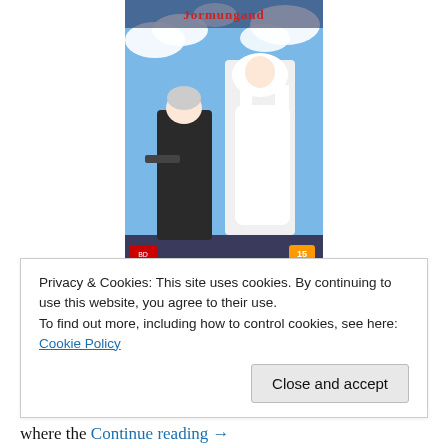[Figure (illustration): Anime DVD/Blu-ray cover for 'Jormungand' showing two characters against a blue sky background with clouds. Title text 'Jormungand' appears at top of cover.]
The story follows the escapades of Jonah, Lehm, Valmet and Lutz who all work for Koko Hekmatyar, an arms dealer who needs someone like Jonah on her team. Koko works with the HCLI an international shipping corporation who secretly deals in the arms trade. As she works with them,
Privacy & Cookies: This site uses cookies. By continuing to use this website, you agree to their use.
To find out more, including how to control cookies, see here: Cookie Policy
where the Continue reading →